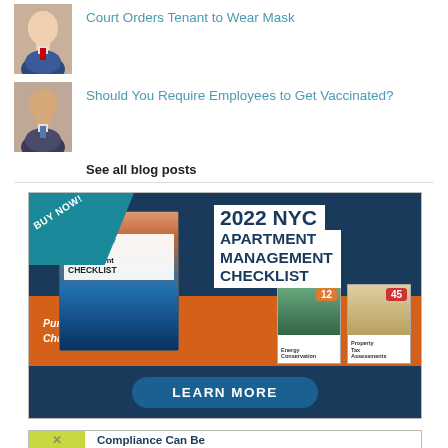[Figure (photo): Portrait photo of an older man in a suit with red tie]
Court Orders Tenant to Wear Mask
[Figure (photo): Portrait photo of a middle-aged man in a suit]
Should You Require Employees to Get Vaccinated?
See all blog posts
[Figure (illustration): Advertisement for 2022 NYC Apartment Management Checklist. Shows book cover with NYC skyline, text '2022 NYC APARTMENT MANAGEMENT CHECKLIST', 'BUY NOW!', 'Purchase Includes Digital Chapter Downloads', with chapter cards numbered 12 (Energy Conservation) and 45 (Property Tax Assessments). Orange button says LEARN MORE.]
[Figure (illustration): Partial advertisement banner at bottom with green/yellow section and text 'Compliance Can Be']